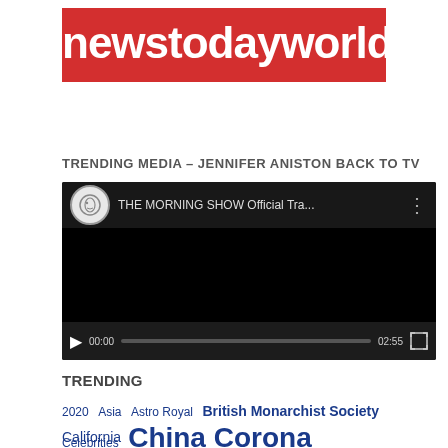[Figure (logo): newstodayworld.org logo - white text on red background]
TRENDING MEDIA – JENNIFER ANISTON BACK TO TV
[Figure (screenshot): YouTube video player showing 'THE MORNING SHOW Official Tra...' with black video area, play button, time 00:00 / 02:55, and fullscreen button]
TRENDING
2020 Asia Astro Royal British Monarchist Society California
China Corona Coronavirus